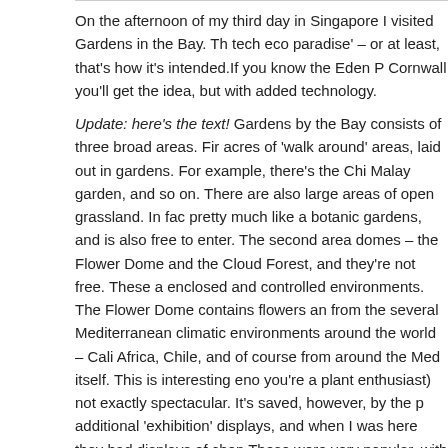On the afternoon of my third day in Singapore I visited Gardens in the Bay. Th tech eco paradise' – or at least, that's how it's intended.If you know the Eden P Cornwall you'll get the idea, but with added technology.
Update: here's the text! Gardens by the Bay consists of three broad areas. Fir acres of 'walk around' areas, laid out in gardens. For example, there's the Chi Malay garden, and so on. There are also large areas of open grassland. In fac pretty much like a botanic gardens, and is also free to enter. The second area domes – the Flower Dome and the Cloud Forest, and they're not free. These a enclosed and controlled environments. The Flower Dome contains flowers an from the several Mediterranean climatic environments around the world – Cali Africa, Chile, and of course from around the Med itself. This is interesting eno you're a plant enthusiast) not exactly spectacular. It's saved, however, by the p additional 'exhibition' displays, and when I was here they had displays of chen These were very popular, with queues of people being photographed beside a blossoms. I took some images of this blossom myself – examples below.
Then there's the Cloud Forest dome. This is an artificial reconstruction (and ex the way vegetation on a mountain is stratified by the climate that is present at So particular species of plant will only exist on the mountain within a fairly nar lower than a certain height, and no higher than a certain other height. For this picked plants that thrive in the 'cloud zone' – temperate climate (in fact blissful plentiful moisture, mainly from the clouds that form around the mountain at the diti d